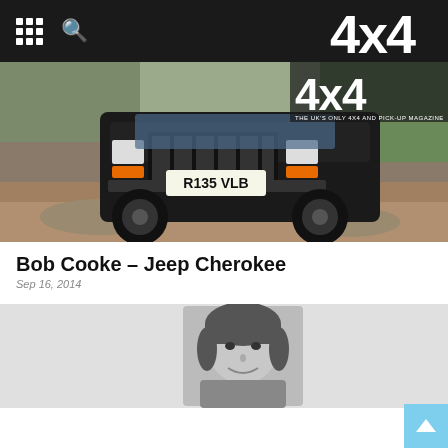4x4 - THE UK'S ONLY 4X4 AND PICK-UP MAGAZINE
[Figure (photo): Black Jeep Cherokee with UK registration plate R135 VLB navigating rocky off-road terrain with trees in background, 4x4 magazine logo overlay]
Bob Cooke – Jeep Cherokee
Sep 16, 2014
[Figure (photo): Black and white portrait photo of a woman with dark hair, smiling, on grey background]
Subaru Forester 2.0D XC Premium
Sep 16, 2014